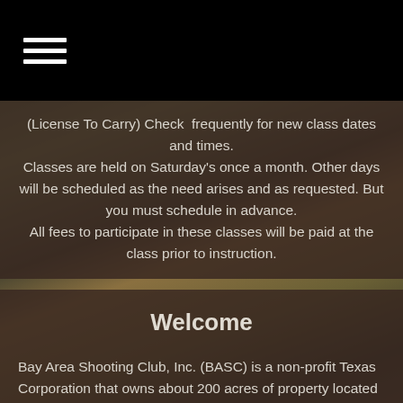[Navigation bar with hamburger menu icon]
(License To Carry) Check  frequently for new class dates and times. Classes are held on Saturday's once a month. Other days will be scheduled as the need arises and as requested. But you must schedule in advance. All fees to participate in these classes will be paid at the class prior to instruction.
Welcome
Bay Area Shooting Club, Inc. (BASC) is a non-profit Texas Corporation that owns about 200 acres of property located at 4100 Euell Road near Crosby, Texas. Euell Road is a short distance down Bohemian Hall Road south of US Highway 90